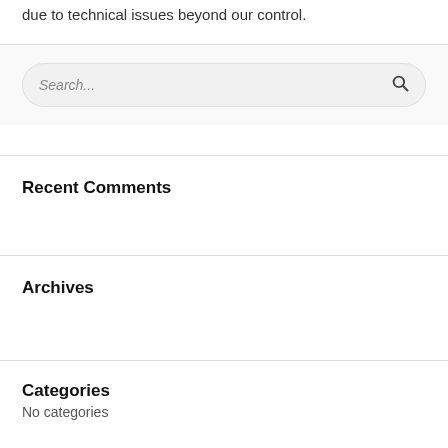due to technical issues beyond our control.
[Figure (screenshot): Search input box with placeholder text 'Search...' and a search icon on the right]
Recent Comments
Archives
Categories
No categories
Meta